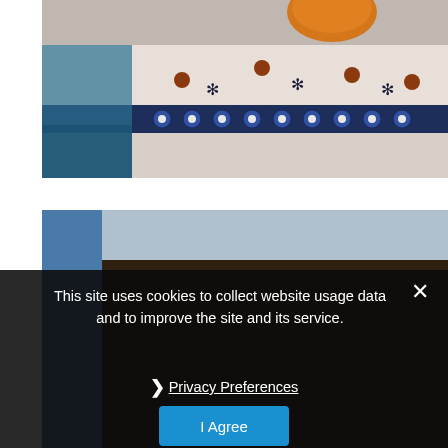[Figure (photo): Close-up photo of decorated Polish pottery ceramic bowl with blue and white patterns, brown dots, floral motifs, with an orange fruit visible at the top]
[Figure (photo): Partial second photo below the first, showing a blurred background with blue and dark tones, partially obscured by cookie consent overlay]
This site uses cookies to collect website usage data and to improve the site and its service.
❯ Privacy Preferences
I Agree